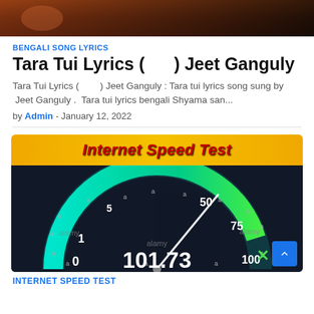[Figure (photo): Dark reddish-brown top image, partial view of a person or scene]
BENGALI SONG LYRICS
Tara Tui Lyrics (     ) Jeet Ganguly
Tara Tui Lyrics (        ) Jeet Ganguly : Tara tui lyrics song sung by  Jeet Ganguly .  Tara tui lyrics bengali Shyama san...
by Admin - January 12, 2022
[Figure (photo): Internet Speed Test image showing a speedometer gauge reading 101.73 with numbers 0, 1, 5, 50, 75, 100 visible, with 'Internet Speed Test' text on yellow/orange banner at the top, watermark 'alamy' visible]
INTERNET SPEED TEST